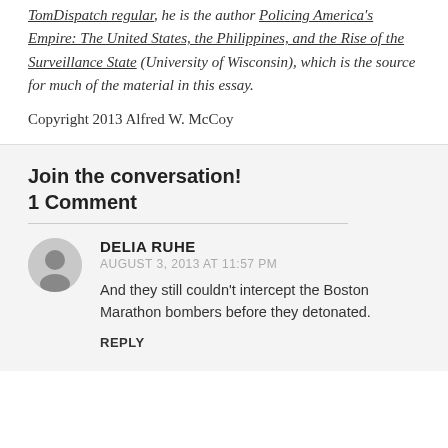TomDispatch regular, he is the author Policing America's Empire: The United States, the Philippines, and the Rise of the Surveillance State (University of Wisconsin), which is the source for much of the material in this essay.
Copyright 2013 Alfred W. McCoy
Join the conversation!
1 Comment
DELIA RUHE
AUGUST 3, 2013 AT 11:57 PM
And they still couldn't intercept the Boston Marathon bombers before they detonated.
REPLY